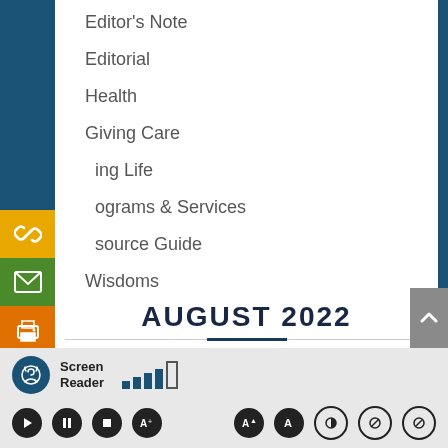Editor's Note
Editorial
Health
Giving Care
…ing Life
…ograms & Services
…source Guide
Wisdoms
AUGUST 2022
Screen Reader